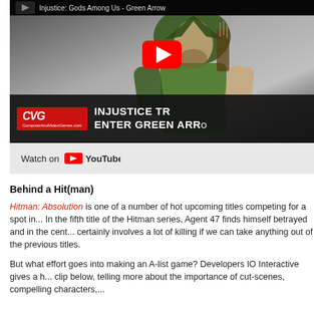[Figure (screenshot): YouTube video thumbnail for 'Injustice: Gods Among Us - Green Arrow' showing the Green Arrow character in green hood and armor. Overlaid with CVG logo, text 'INJUSTICE TR... ENTER GREEN ARR...' and a YouTube play button. Bottom shows 'Watch on YouTube' bar.]
Behind a Hit(man)
Hitman: Absolution is one of a number of hot upcoming titles competing for a spot in... In the fifth title of the Hitman series, Agent 47 finds himself betrayed and in the cent... certainly involves a lot of killing if we can take anything out of the previous titles.
But what effort goes into making an A-list game? Developers IO Interactive gives a h... clip below, telling more about the importance of cut-scenes, compelling characters,...